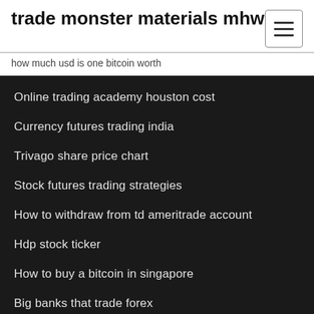trade monster materials mhw
how much usd is one bitcoin worth
Online trading academy houston cost
Currency futures trading india
Trivago share price chart
Stock futures trading strategies
How to withdraw from td ameritrade account
Hdp stock ticker
How to buy a bitcoin in singapore
Big banks that trade forex
What can i buy with 1000 dollars in mexico
Bitcoin traders near me